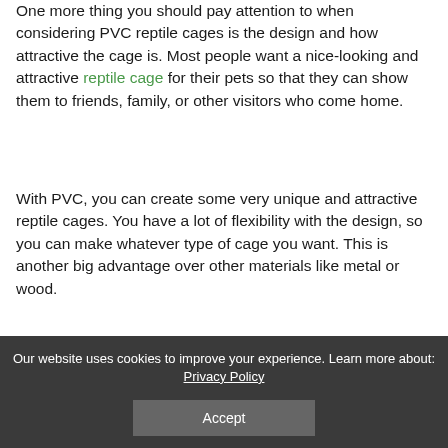One more thing you should pay attention to when considering PVC reptile cages is the design and how attractive the cage is. Most people want a nice-looking and attractive reptile cage for their pets so that they can show them to friends, family, or other visitors who come home.
With PVC, you can create some very unique and attractive reptile cages. You have a lot of flexibility with the design, so you can make whatever type of cage you want. This is another big advantage over other materials like metal or wood.
There are many colors of PVC pipe and fittings, so you can easily match the color of your reptile's enclosure to the décor of your home. You can also get creative with the design and make some
Our website uses cookies to improve your experience. Learn more about: Privacy Policy Accept